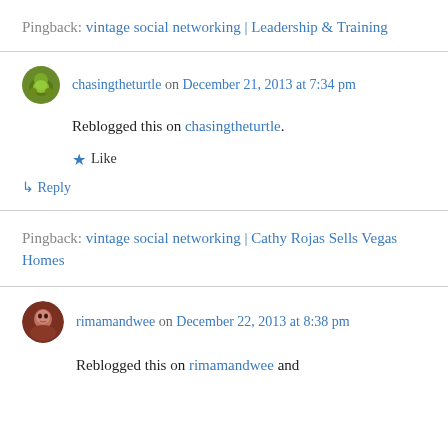Pingback: vintage social networking | Leadership & Training
chasingtheturtle on December 21, 2013 at 7:34 pm
Reblogged this on chasingtheturtle.
Like
↳ Reply
Pingback: vintage social networking | Cathy Rojas Sells Vegas Homes
rimamandwee on December 22, 2013 at 8:38 pm
Reblogged this on rimamandwee and